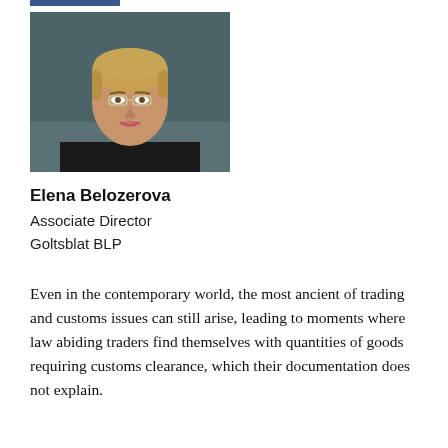[Figure (photo): Headshot of Elena Belozerova, a woman with short blonde hair and glasses, wearing a dark jacket, against a dark teal background.]
Elena Belozerova
Associate Director
Goltsblat BLP
Even in the contemporary world, the most ancient of trading and customs issues can still arise, leading to moments where law abiding traders find themselves with quantities of goods requiring customs clearance, which their documentation does not explain.